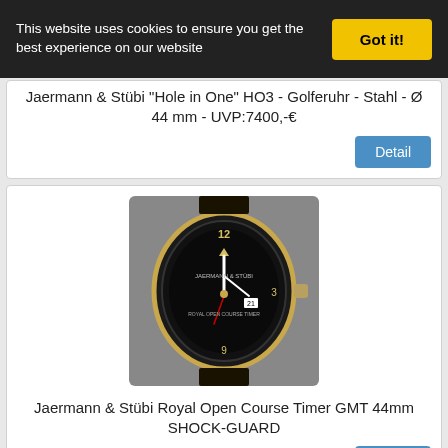This website uses cookies to ensure you get the best experience on our website
Got it!
Jaermann & Stübi "Hole in One" HO3 - Golferuhr - Stahl - Ø 44 mm - UVP:7400,-€
Detail
[Figure (photo): Dark dial dive watch with black bezel and leather strap - Jaermann & Stübi Royal Open Course Timer GMT 44mm SHOCK-GUARD]
Jaermann & Stübi Royal Open Course Timer GMT 44mm SHOCK-GUARD
Detail
[Figure (photo): White dial watch with red numerals - Jaermann & Stübi model, partial view]